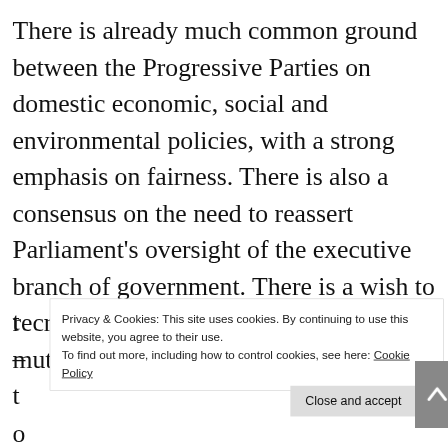There is already much common ground between the Progressive Parties on domestic economic, social and environmental policies, with a strong emphasis on fairness. There is also a consensus on the need to reassert Parliament's oversight of the executive branch of government. There is a wish to recreate an atmosphere of tolerance and mutual respect t – t o the devolved governments also have their
Privacy & Cookies: This site uses cookies. By continuing to use this website, you agree to their use.
To find out more, including how to control cookies, see here: Cookie Policy
Close and accept